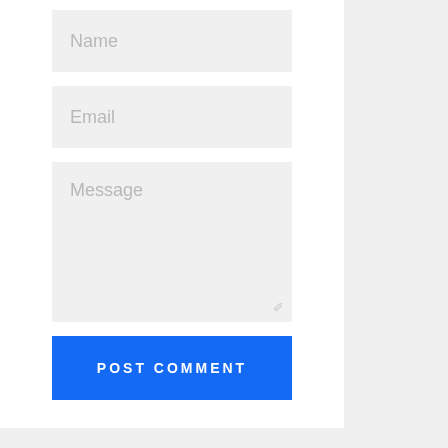[Figure (screenshot): A web comment form with Name, Email, and Message input fields, a blue POST COMMENT button, and a BACK TO NEWS navigation link below.]
Name
Email
Message
POST COMMENT
← BACK TO NEWS